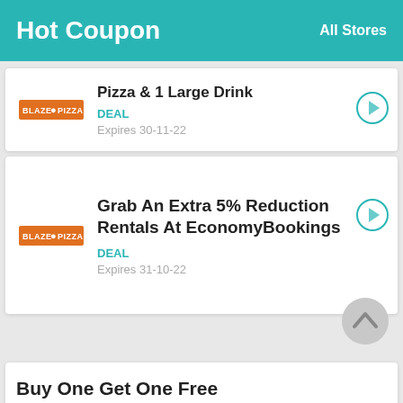Hot Coupon   All Stores
Pizza & 1 Large Drink
DEAL
Expires 30-11-22
Grab An Extra 5% Reduction Rentals At EconomyBookings
DEAL
Expires 31-10-22
Buy One Get One Free Blaze Pizza September